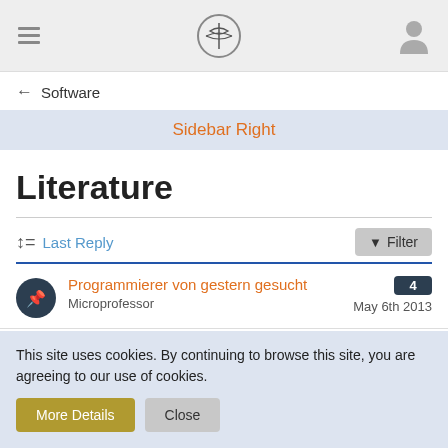Software
Sidebar Right
Literature
Last Reply   Filter
Programmierer von gestern gesucht – Microprofessor – May 6th 2013 – 4 replies
The Silicon Newsflash
This site uses cookies. By continuing to browse this site, you are agreeing to our use of cookies.